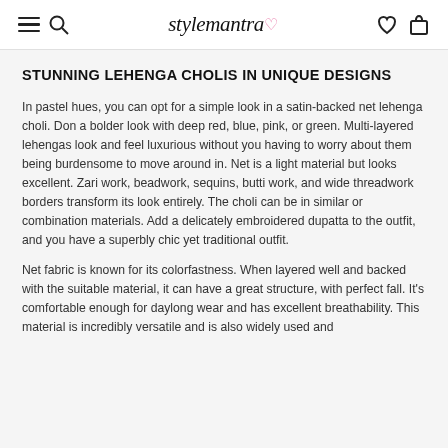stylemantra
STUNNING LEHENGA CHOLIS IN UNIQUE DESIGNS
In pastel hues, you can opt for a simple look in a satin-backed net lehenga choli. Don a bolder look with deep red, blue, pink, or green. Multi-layered lehengas look and feel luxurious without you having to worry about them being burdensome to move around in. Net is a light material but looks excellent. Zari work, beadwork, sequins, butti work, and wide threadwork borders transform its look entirely. The choli can be in similar or combination materials. Add a delicately embroidered dupatta to the outfit, and you have a superbly chic yet traditional outfit.
Net fabric is known for its colorfastness. When layered well and backed with the suitable material, it can have a great structure, with perfect fall. It's comfortable enough for daylong wear and has excellent breathability. This material is incredibly versatile and is also widely used and